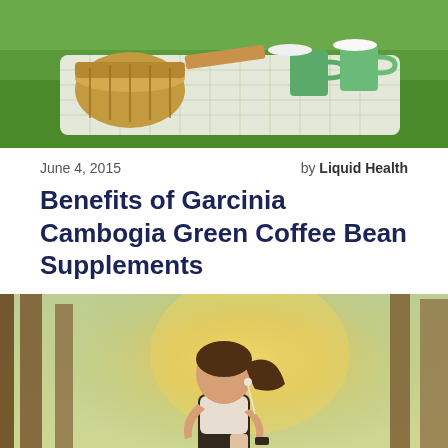[Figure (photo): Picnic scene with wicker basket, wooden cutting board, green mugs, and white checkered tablecloth on a table outdoors surrounded by green grass]
June 4, 2015    by Liquid Health
Benefits of Garcinia Cambogia Green Coffee Bean Supplements
[Figure (photo): Young woman jogging outdoors in a forest with sunlight filtering through trees, wearing athletic gear and earphones, holding a phone]